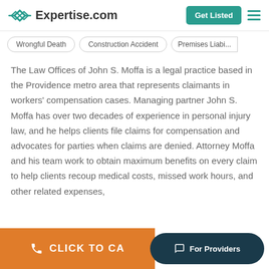Expertise.com — Get Listed
Wrongful Death
Construction Accident
Premises Liabi...
The Law Offices of John S. Moffa is a legal practice based in the Providence metro area that represents claimants in workers' compensation cases. Managing partner John S. Moffa has over two decades of experience in personal injury law, and he helps clients file claims for compensation and advocates for parties when claims are denied. Attorney Moffa and his team work to obtain maximum benefits on every claim to help clients recoup medical costs, missed work hours, and other related expenses,
CLICK TO CA... | For Providers